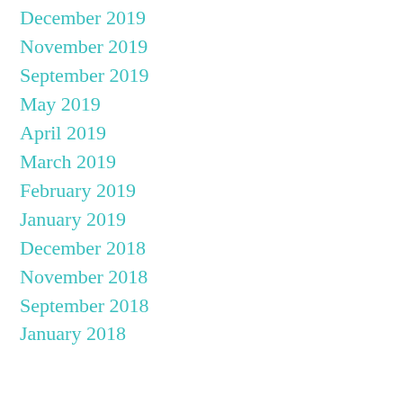December 2019
November 2019
September 2019
May 2019
April 2019
March 2019
February 2019
January 2019
December 2018
November 2018
September 2018
January 2018